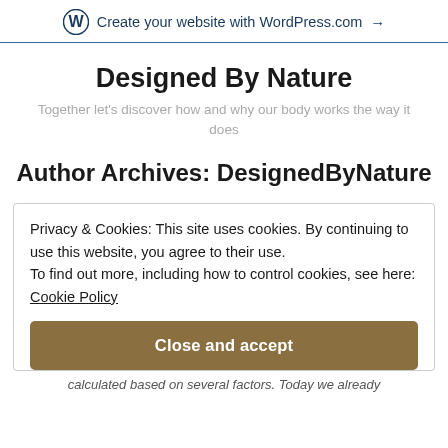Create your website with WordPress.com →
Designed By Nature
Together let's discover how and why our body works the way it does
Author Archives: DesignedByNature
Privacy & Cookies: This site uses cookies. By continuing to use this website, you agree to their use.
To find out more, including how to control cookies, see here: Cookie Policy
Close and accept
calculated based on several factors. Today we already